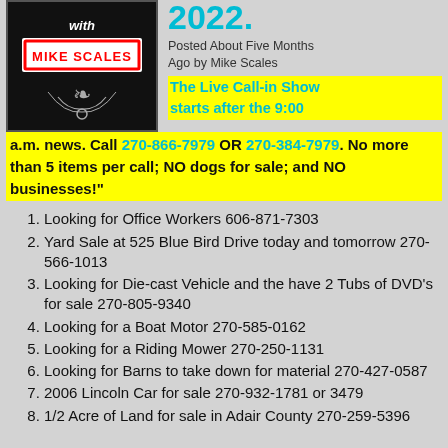[Figure (illustration): Black background image with 'with MIKE SCALES' text, decorative design, radio show logo]
2022.
Posted About Five Months Ago by Mike Scales
The Live Call-in Show starts after the 9:00 a.m. news. Call 270-866-7979 OR 270-384-7979. No more than 5 items per call; NO dogs for sale; and NO businesses!"
Looking for Office Workers 606-871-7303
Yard Sale at 525 Blue Bird Drive today and tomorrow 270-566-1013
Looking for Die-cast Vehicle and the have 2 Tubs of DVD's for sale 270-805-9340
Looking for a Boat Motor 270-585-0162
Looking for a Riding Mower 270-250-1131
Looking for Barns to take down for material 270-427-0587
2006 Lincoln Car for sale 270-932-1781 or 3479
1/2 Acre of Land for sale in Adair County 270-259-5396